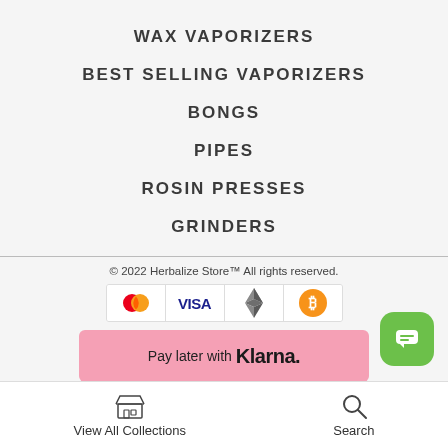WAX VAPORIZERS
BEST SELLING VAPORIZERS
BONGS
PIPES
ROSIN PRESSES
GRINDERS
© 2022 Herbalize Store™ All rights reserved.
[Figure (logo): Payment icons: Mastercard, Visa, Ethereum, Bitcoin]
[Figure (logo): Pay later with Klarna. pink banner]
View All Collections   Search